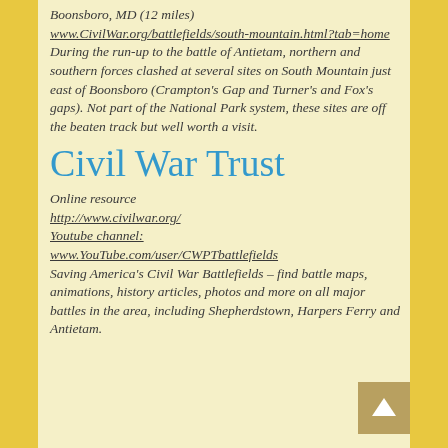Boonsboro, MD (12 miles) www.CivilWar.org/battlefields/south-mountain.html?tab=home During the run-up to the battle of Antietam, northern and southern forces clashed at several sites on South Mountain just east of Boonsboro (Crampton's Gap and Turner's and Fox's gaps). Not part of the National Park system, these sites are off the beaten track but well worth a visit.
Civil War Trust
Online resource http://www.civilwar.org/ Youtube channel: www.YouTube.com/user/CWPTbattlefields Saving America's Civil War Battlefields – find battle maps, animations, history articles, photos and more on all major battles in the area, including Shepherdstown, Harpers Ferry and Antietam.